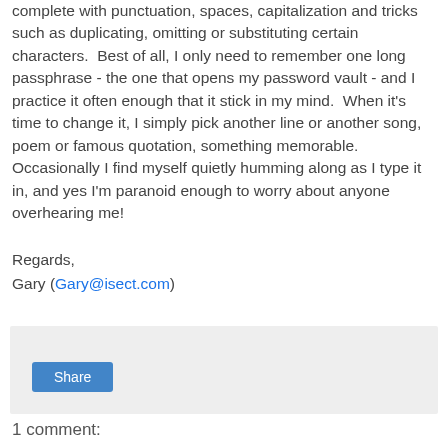complete with punctuation, spaces, capitalization and tricks such as duplicating, omitting or substituting certain characters.  Best of all, I only need to remember one long passphrase - the one that opens my password vault - and I practice it often enough that it stick in my mind.  When it's time to change it, I simply pick another line or another song, poem or famous quotation, something memorable.  Occasionally I find myself quietly humming along as I type it in, and yes I'm paranoid enough to worry about anyone overhearing me!
Regards,
Gary (Gary@isect.com)
[Figure (other): Share button widget box with light gray background]
1 comment:
Anonymous, 18 November, 2011 05:19